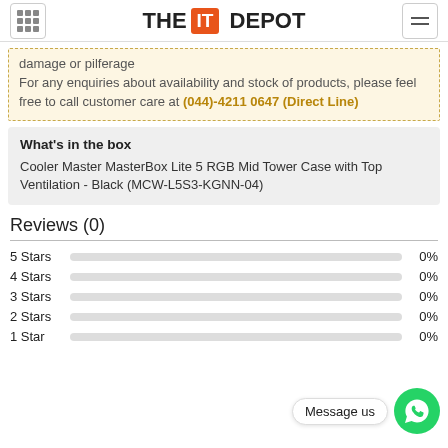THE IT DEPOT
damage or pilferage
For any enquiries about availability and stock of products, please feel free to call customer care at (044)-4211 0647 (Direct Line)
What's in the box
Cooler Master MasterBox Lite 5 RGB Mid Tower Case with Top Ventilation - Black (MCW-L5S3-KGNN-04)
Reviews (0)
5 Stars 0%
4 Stars 0%
3 Stars 0%
2 Stars 0%
1 Star 0%